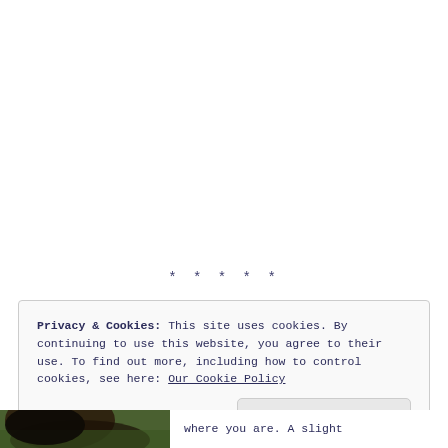* * * * *
Privacy & Cookies: This site uses cookies. By continuing to use this website, you agree to their use. To find out more, including how to control cookies, see here: Our Cookie Policy
Close and accept
[Figure (photo): Partial view of an animal (appears to be a dark-colored animal, possibly a cow or similar) on green grass, cropped at bottom of page]
where you are. A slight